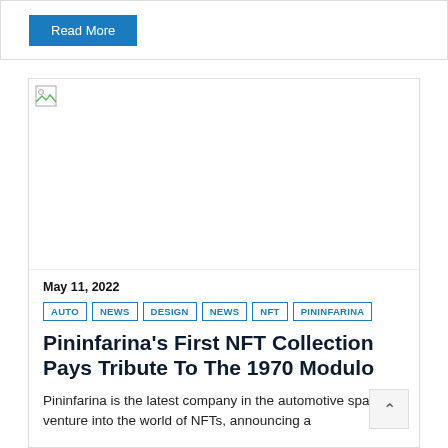Read More
[Figure (photo): Broken image placeholder for article thumbnail]
May 11, 2022
AUTO  NEWS  DESIGN  NEWS  NFT  PININFARINA
Pininfarina’s First NFT Collection Pays Tribute To The 1970 Modulo
Pininfarina is the latest company in the automotive space to venture into the world of NFTs, announcing a